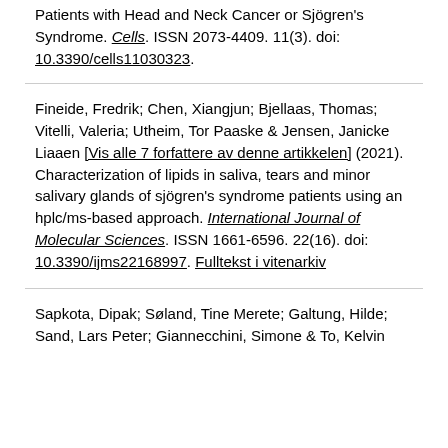Patients with Head and Neck Cancer or Sjögren's Syndrome. Cells. ISSN 2073-4409. 11(3). doi: 10.3390/cells11030323.
Fineide, Fredrik; Chen, Xiangjun; Bjellaas, Thomas; Vitelli, Valeria; Utheim, Tor Paaske & Jensen, Janicke Liaaen [Vis alle 7 forfattere av denne artikkelen] (2021). Characterization of lipids in saliva, tears and minor salivary glands of sjögren's syndrome patients using an hplc/ms-based approach. International Journal of Molecular Sciences. ISSN 1661-6596. 22(16). doi: 10.3390/ijms22168997. Fulltekst i vitenarkiv
Sapkota, Dipak; Søland, Tine Merete; Galtung, Hilde; Sand, Lars Peter; Giannecchini, Simone & To, Kelvin